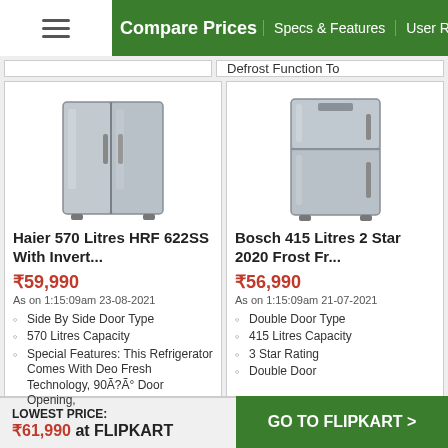Compare Prices | Specs & Features | User Reviews | Price Cha...
Defrost Function To
[Figure (photo): Haier 570 Litres HRF 622SS side-by-side refrigerator in stainless steel finish]
Haier 570 Litres HRF 622SS With Invert...
₹59,990
As on 1:15:09am 23-08-2021
Side By Side Door Type
570 Litres Capacity
Special Features: This Refrigerator Comes With Deo Fresh Technology, 90Ã?Ã° Door Opening,
[Figure (photo): Bosch 415 Litres 2 Star 2020 Frost Free double door refrigerator in silver finish]
Bosch 415 Litres 2 Star 2020 Frost Fr...
₹56,990
As on 1:15:09am 21-07-2021
Double Door Type
415 Litres Capacity
3 Star Rating
Double Door
LOWEST PRICE: ₹61,990 at FLIPKART | GO TO FLIPKART >